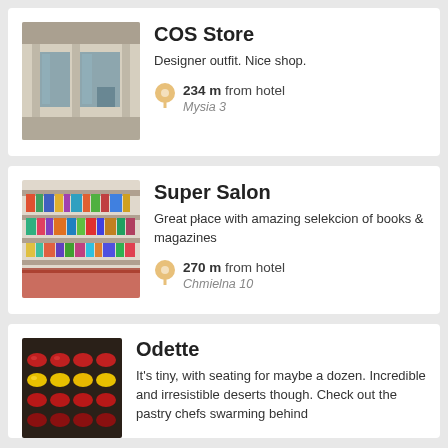[Figure (photo): Storefront of COS Store showing large glass windows and exterior facade]
COS Store
Designer outfit. Nice shop.
234 m from hotel
Mysia 3
[Figure (photo): Interior of Super Salon showing shelves filled with books and magazines]
Super Salon
Great płace with amazing selekcion of books & magazines
270 m from hotel
Chmielna 10
[Figure (photo): Colorful pastries and macarons displayed at Odette]
Odette
It's tiny, with seating for maybe a dozen. Incredible and irresistible deserts though. Check out the pastry chefs swarming behind